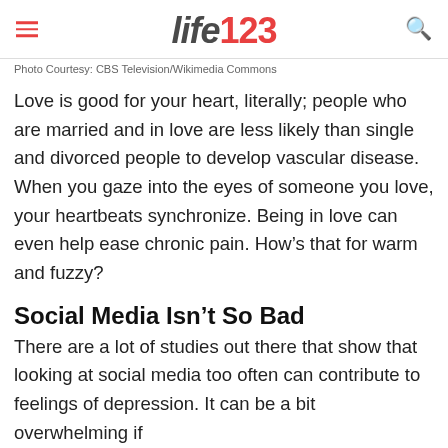life123
Photo Courtesy: CBS Television/Wikimedia Commons
Love is good for your heart, literally; people who are married and in love are less likely than single and divorced people to develop vascular disease. When you gaze into the eyes of someone you love, your heartbeats synchronize. Being in love can even help ease chronic pain. How’s that for warm and fuzzy?
Social Media Isn’t So Bad
There are a lot of studies out there that show that looking at social media too often can contribute to feelings of depression. It can be a bit overwhelming if you look before the question. How are the